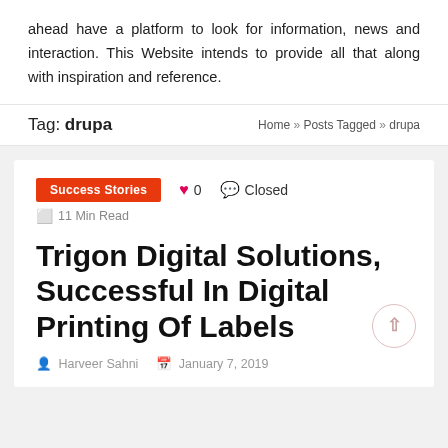ahead have a platform to look for information, news and interaction. This Website intends to provide all that along with inspiration and reference.
Tag: drupa
Home » Posts Tagged » drupa
Success Stories   ♥ 0   Closed   📋 11 Min Read
Trigon Digital Solutions, Successful In Digital Printing Of Labels
Harveer Sahni   January 7, 2019